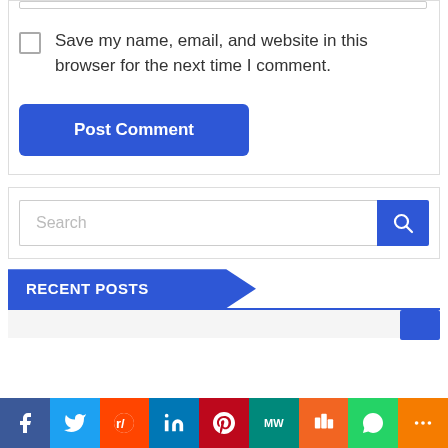[Figure (screenshot): Top of a comment form with a thin input field at the top, a checkbox and label 'Save my name, email, and website in this browser for the next time I comment.', and a blue 'Post Comment' button.]
Save my name, email, and website in this browser for the next time I comment.
[Figure (screenshot): A search bar with placeholder text 'Search' and a blue search icon button on the right.]
RECENT POSTS
[Figure (screenshot): Social sharing bar with icons for Facebook, Twitter, Reddit, LinkedIn, Pinterest, MeWe, Mix, WhatsApp, and More.]